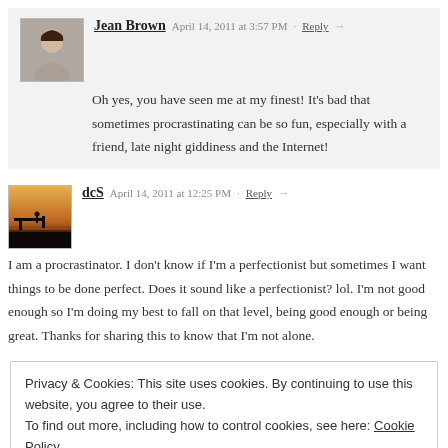Jean Brown  April 14, 2011 at 3:57 PM · Reply
Oh yes, you have seen me at my finest! It's bad that sometimes procrastinating can be so fun, especially with a friend, late night giddiness and the Internet!
dcS  April 14, 2011 at 12:25 PM · Reply
I am a procrastinator. I don't know if I'm a perfectionist but sometimes I want things to be done perfect. Does it sound like a perfectionist? lol. I'm not good enough so I'm doing my best to fall on that level, being good enough or being great. Thanks for sharing this to know that I'm not alone.
Privacy & Cookies: This site uses cookies. By continuing to use this website, you agree to their use.
To find out more, including how to control cookies, see here: Cookie Policy
Close and accept